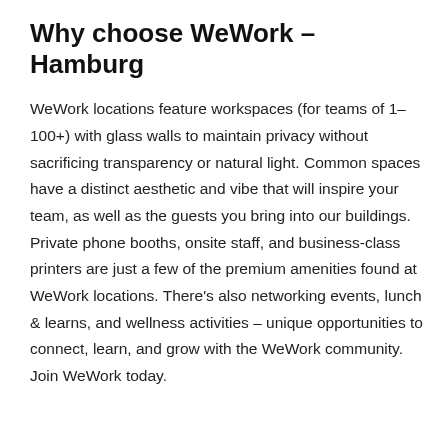Why choose WeWork – Hamburg
WeWork locations feature workspaces (for teams of 1–100+) with glass walls to maintain privacy without sacrificing transparency or natural light. Common spaces have a distinct aesthetic and vibe that will inspire your team, as well as the guests you bring into our buildings. Private phone booths, onsite staff, and business-class printers are just a few of the premium amenities found at WeWork locations. There's also networking events, lunch & learns, and wellness activities – unique opportunities to connect, learn, and grow with the WeWork community. Join WeWork today.